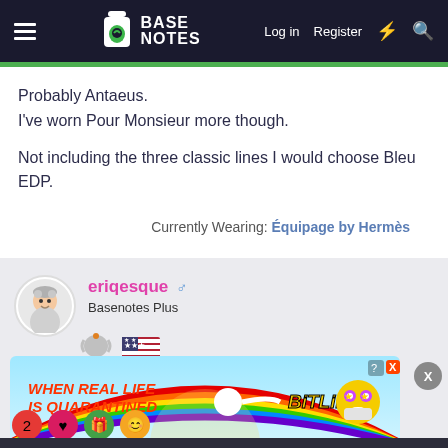BASE NOTES — Log in  Register
Probably Antaeus.
I've worn Pour Monsieur more though.

Not including the three classic lines I would choose Bleu EDP.
Currently Wearing: Équipage by Hermès
eriqesque ♂
Basenotes Plus
[Figure (screenshot): BitLife advertisement banner: 'WHEN REAL LIFE IS QUARANTINED' with rainbow background and BitLife logo with emoji characters]